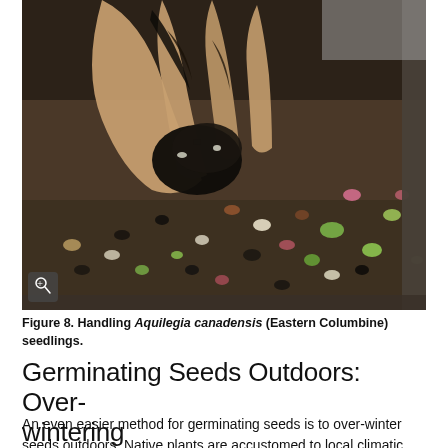[Figure (photo): Close-up photograph of a hand holding Aquilegia canadensis (Eastern Columbine) seedlings with dark soil and colorful small seeds/seedlings visible in a tray below.]
Figure 8. Handling Aquilegia canadensis (Eastern Columbine) seedlings.
Germinating Seeds Outdoors: Overwintering
An even easier method for germinating seeds is to over-winter seeds outdoors. Native plants are accustomed to local climatic conditions and do not need to germinate